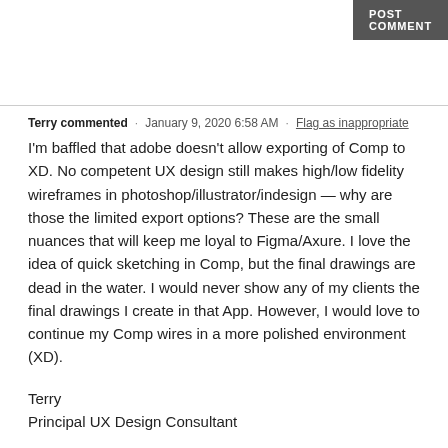POST COMMENT
Terry commented · January 9, 2020 6:58 AM · Flag as inappropriate
I'm baffled that adobe doesn't allow exporting of Comp to XD. No competent UX design still makes high/low fidelity wireframes in photoshop/illustrator/indesign — why are those the limited export options? These are the small nuances that will keep me loyal to Figma/Axure. I love the idea of quick sketching in Comp, but the final drawings are dead in the water. I would never show any of my clients the final drawings I create in that App. However, I would love to continue my Comp wires in a more polished environment (XD).
Terry
Principal UX Design Consultant